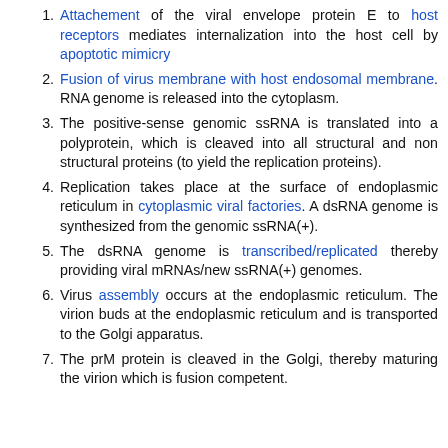Attachement of the viral envelope protein E to host receptors mediates internalization into the host cell by apoptotic mimicry
Fusion of virus membrane with host endosomal membrane. RNA genome is released into the cytoplasm.
The positive-sense genomic ssRNA is translated into a polyprotein, which is cleaved into all structural and non structural proteins (to yield the replication proteins).
Replication takes place at the surface of endoplasmic reticulum in cytoplasmic viral factories. A dsRNA genome is synthesized from the genomic ssRNA(+).
The dsRNA genome is transcribed/replicated thereby providing viral mRNAs/new ssRNA(+) genomes.
Virus assembly occurs at the endoplasmic reticulum. The virion buds at the endoplasmic reticulum and is transported to the Golgi apparatus.
The prM protein is cleaved in the Golgi, thereby maturing the virion which is fusion competent.